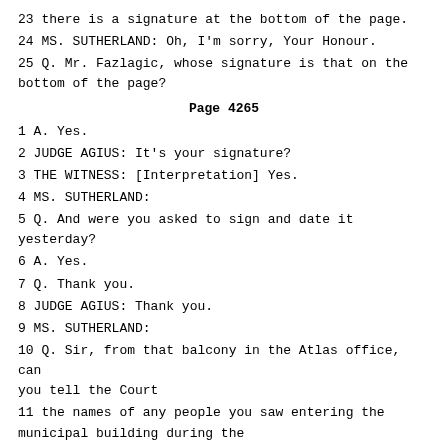23 there is a signature at the bottom of the page.
24 MS. SUTHERLAND: Oh, I'm sorry, Your Honour.
25 Q. Mr. Fazlagic, whose signature is that on the bottom of the page?
Page 4265
1 A. Yes.
2 JUDGE AGIUS: It's your signature?
3 THE WITNESS: [Interpretation] Yes.
4 MS. SUTHERLAND:
5 Q. And were you asked to sign and date it yesterday?
6 A. Yes.
7 Q. Thank you.
8 JUDGE AGIUS: Thank you.
9 MS. SUTHERLAND:
10 Q. Sir, from that balcony in the Atlas office, can you tell the Court
11 the names of any people you saw entering the municipal building during the